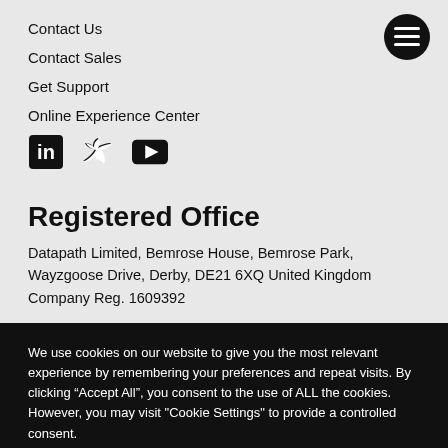Contact Us
Contact Sales
Get Support
Online Experience Center
[Figure (illustration): Social media icons: LinkedIn, Twitter, YouTube]
[Figure (illustration): Hamburger menu button (dark circle with three lines)]
Registered Office
Datapath Limited, Bemrose House, Bemrose Park, Wayzgoose Drive, Derby, DE21 6XQ United Kingdom
Company Reg. 1609392
We use cookies on our website to give you the most relevant experience by remembering your preferences and repeat visits. By clicking “Accept All”, you consent to the use of ALL the cookies. However, you may visit "Cookie Settings" to provide a controlled consent.